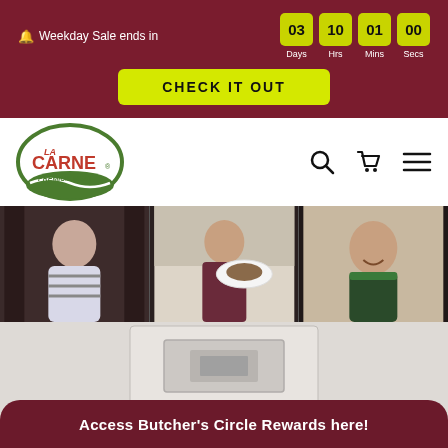🔔 Weekday Sale ends in
03 Days  10 Hrs  01 Mins  00 Secs
CHECK IT OUT
[Figure (logo): La Carne Premium Meat logo — oval green border with red and green text]
[Figure (photo): Three-panel carousel strip showing people in a kitchen/restaurant setting]
[Figure (photo): Interior photo of a store ceiling with Silver Fern signage]
Access Butcher's Circle Rewards here!